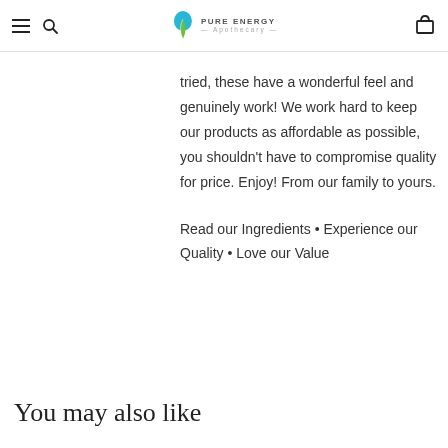Pure Energy Apothecary
tried, these have a wonderful feel and genuinely work! We work hard to keep our products as affordable as possible, you shouldn't have to compromise quality for price. Enjoy! From our family to yours.
Read our Ingredients • Experience our Quality • Love our Value
You may also like